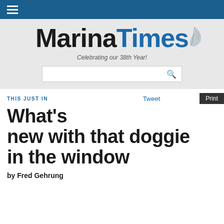Marina Times — Celebrating our 38th Year!
THIS JUST IN
Tweet
Print
What's new with that doggie in the window
by Fred Gehrung